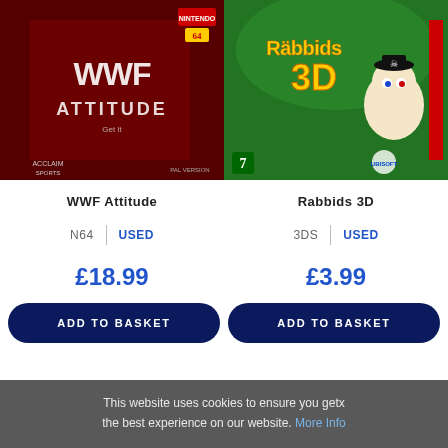[Figure (photo): WWF Attitude N64 game box art — red-toned wrestling imagery with 'WWF Attitude - Get It' text, Acclaim Sports logo, Nintendo 64 label, PAL Version]
[Figure (photo): Rabbids 3D Nintendo 3DS game box art — colorful tropical scene with a Rabbid wearing a pirate hat, 'Rabbids 3D' title, Ubisoft/Nintendo logos, age rating 7]
WWF Attitude
Rabbids 3D
N64
USED
3DS
USED
£18.99
£3.99
ADD TO BASKET
ADD TO BASKET
This website uses cookies to ensure you getx the best experience on our website. More Info